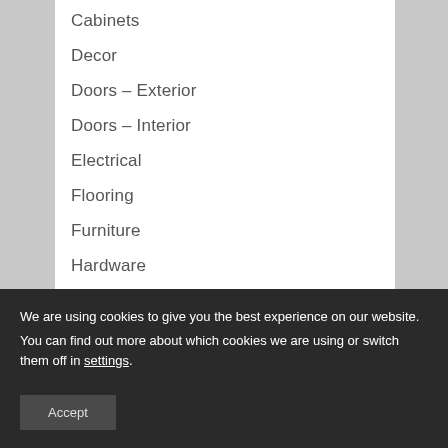Cabinets
Decor
Doors – Exterior
Doors – Interior
Electrical
Flooring
Furniture
Hardware
Heating & Cooling
Lighting
We are using cookies to give you the best experience on our website.
You can find out more about which cookies we are using or switch them off in settings.
Accept